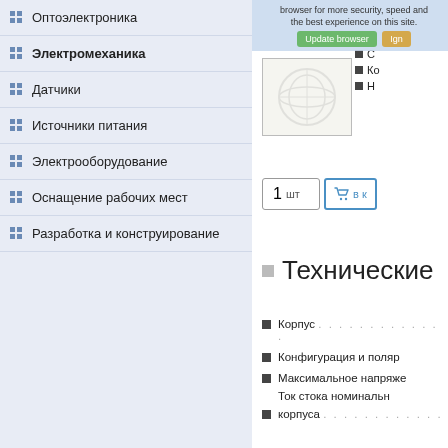Оптоэлектроника
Электромеханика
Датчики
Источники питания
Электрооборудование
Оснащение рабочих мест
Разработка и конструирование
[Figure (screenshot): Browser update notification bar overlay]
[Figure (photo): Product image placeholder with watermark]
1 шт
в к
Технические
Корпус ......................
Конфигурация и поляр
Максимальное напряже
Ток стока номинальн
корпуса ......................